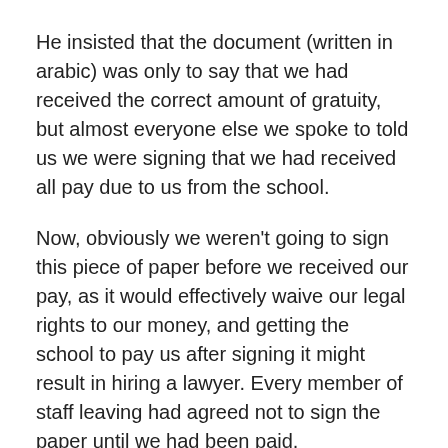He insisted that the document (written in arabic) was only to say that we had received the correct amount of gratuity, but almost everyone else we spoke to told us we were signing that we had received all pay due to us from the school.
Now, obviously we weren't going to sign this piece of paper before we received our pay, as it would effectively waive our legal rights to our money, and getting the school to pay us after signing it might result in hiring a lawyer. Every member of staff leaving had agreed not to sign the paper until we had been paid.
So on Saturday (the beginning of the week for us), Mishari tells us we are going to be paid on Sunday and we'll go to the Ministry on Tuesday.